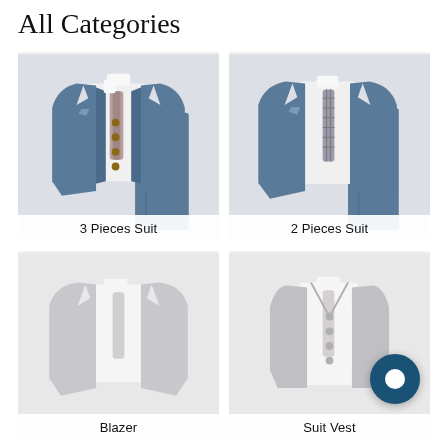All Categories
[Figure (photo): Product category card showing a blue 3-piece suit (jacket, vest, trousers) with white shirt and patterned tie, labeled '3 Pieces Suit']
[Figure (photo): Product category card showing a blue 2-piece suit (jacket and trousers) with white shirt and plaid tie, labeled '2 Pieces Suit']
[Figure (photo): Product category card showing a light gray blazer with white shirt and light tie, labeled 'Blazer']
[Figure (photo): Product category card showing a light gray suit vest with white shirt and light tie, with chat bubble icon, labeled 'Suit Vest']